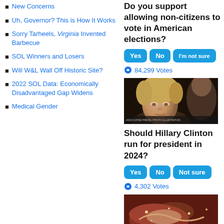New Concerns
Uh, Governor? This is How It Works
Sorry Tarheels, Virginia Invented Barbecue
SOL Winners and Losers
Will W&L Wall Off Historic Site?
2022 SOL Data: Economically Disadvantaged Gap Widens
Medical Gender
Do you support allowing non-citizens to vote in American elections?
84,299 Votes
[Figure (photo): Photo of Hillary Clinton looking serious at a hearing]
Should Hillary Clinton run for president in 2024?
4,302 Votes
[Figure (photo): Close-up photo of food (meat/barbecue)]